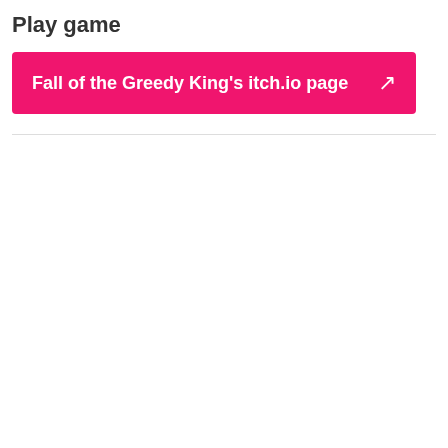Play game
Fall of the Greedy King's itch.io page ↗